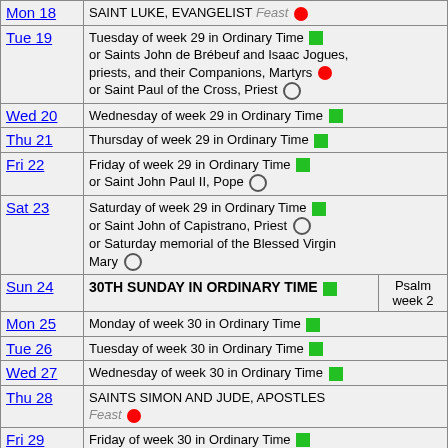| Day | Observance | Note |
| --- | --- | --- |
| Mon 18 | SAINT LUKE, EVANGELIST  Feast • |  |
| Tue 19 | Tuesday of week 29 in Ordinary Time ■
or Saints John de Brébeuf and Isaac Jogues, priests, and their Companions, Martyrs •
or Saint Paul of the Cross, Priest ○ |  |
| Wed 20 | Wednesday of week 29 in Ordinary Time ■ |  |
| Thu 21 | Thursday of week 29 in Ordinary Time ■ |  |
| Fri 22 | Friday of week 29 in Ordinary Time ■
or Saint John Paul II, Pope ○ |  |
| Sat 23 | Saturday of week 29 in Ordinary Time ■
or Saint John of Capistrano, Priest ○
or Saturday memorial of the Blessed Virgin Mary ○ |  |
| Sun 24 | 30TH SUNDAY IN ORDINARY TIME ■ | Psalm week 2 |
| Mon 25 | Monday of week 30 in Ordinary Time ■ |  |
| Tue 26 | Tuesday of week 30 in Ordinary Time ■ |  |
| Wed 27 | Wednesday of week 30 in Ordinary Time ■ |  |
| Thu 28 | SAINTS SIMON AND JUDE, APOSTLES  Feast • |  |
| Fri 29 | Friday of week 30 in Ordinary Time ■ |  |